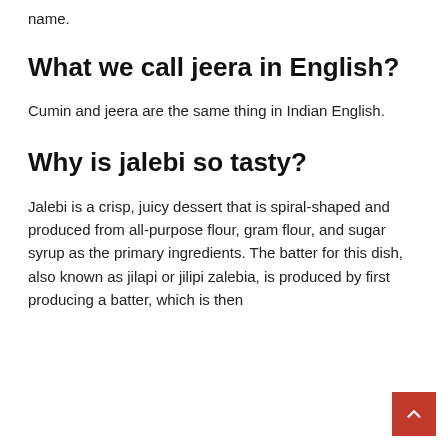name.
What we call jeera in English?
Cumin and jeera are the same thing in Indian English.
Why is jalebi so tasty?
Jalebi is a crisp, juicy dessert that is spiral-shaped and produced from all-purpose flour, gram flour, and sugar syrup as the primary ingredients. The batter for this dish, also known as jilapi or jilipi zalebia, is produced by first producing a batter, which is then